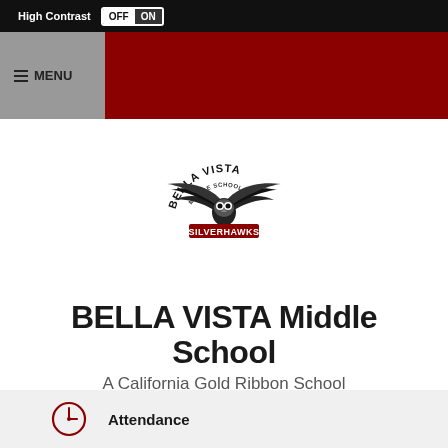High Contrast OFF ON
≡ MENU
[Figure (logo): Bella Vista Middle School Silverhawks logo — stylized hawk with wings spread, text 'BELLA VISTA MIDDLE SCHOOL' in arc above and 'SILVERHAWKS' in red below]
BELLA VISTA Middle School
A California Gold Ribbon School
Attendance